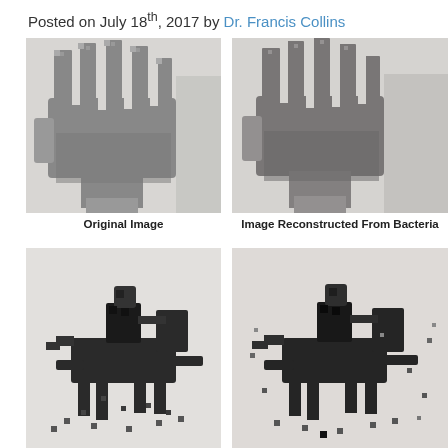Posted on July 18th, 2017 by Dr. Francis Collins
[Figure (photo): Original pixelated grayscale image of a human hand with fingers spread, viewed from the front.]
Original Image
[Figure (photo): Image Reconstructed From Bacteria — pixelated grayscale image of a human hand reconstructed from bacterial DNA storage, similar to the original.]
Image Reconstructed From Bacteria
[Figure (photo): Original pixelated grayscale image of a person riding a galloping horse.]
[Figure (photo): Reconstructed pixelated grayscale image of a person riding a galloping horse, reconstructed from bacterial DNA storage.]